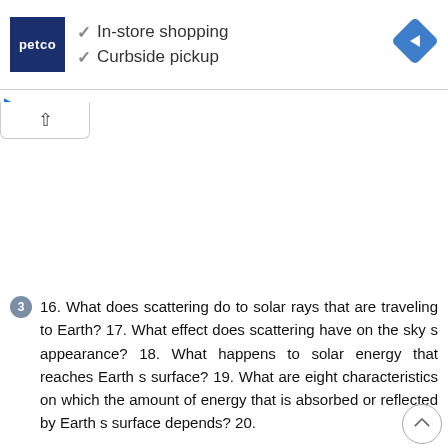[Figure (screenshot): Petco advertisement banner with logo, checkmarks for In-store shopping and Curbside pickup, and a blue navigation diamond icon on the right]
[Figure (screenshot): Collapsed UI tab with upward chevron arrow]
16. What does scattering do to solar rays that are traveling to Earth? 17. What effect does scattering have on the sky s appearance? 18. What happens to solar energy that reaches Earth s surface? 19. What are eight characteristics on which the amount of energy that is absorbed or reflected by Earth s surface depends? 20.